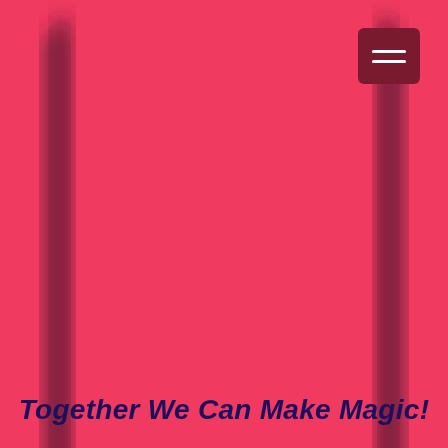[Figure (illustration): A blurred dark rectangular frame (device silhouette) on a coral/crimson pink background, with a hamburger menu icon button in the top-right corner, and bold italic dark navy text at the bottom reading 'Together We Can Make Magic!']
Together We Can Make Magic!